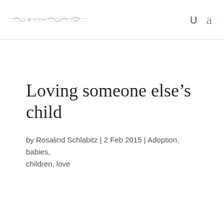[decorative logo/ornament] U a
Loving someone else’s child
by Rosalind Schlabitz | 2 Feb 2015 | Adoption, babies, children, love